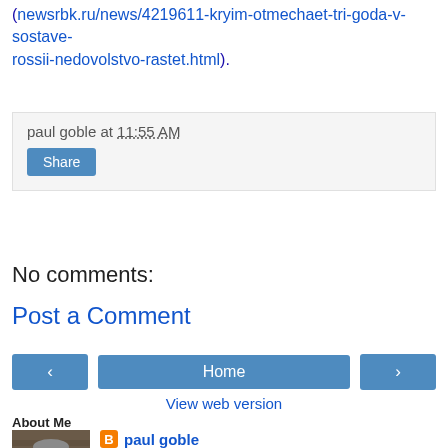(newsrbk.ru/news/4219611-kryim-otmechaet-tri-goda-v-sostave-rossii-nedovolstvo-rastet.html).
paul goble at 11:55 AM
Share
No comments:
Post a Comment
[Figure (other): Navigation buttons: left arrow, Home, right arrow]
View web version
About Me
[Figure (photo): Photo of paul goble, an older man with glasses]
paul goble
Paul Goble is a longtime specialist on ethnic and religious questions in Eurasia. Currently, in addition